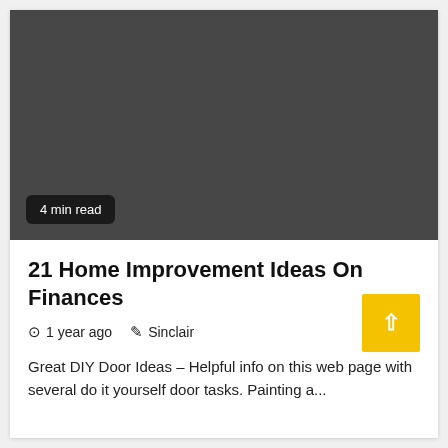[Figure (photo): Dark gray hero image placeholder for article thumbnail]
4 min read
21 Home Improvement Ideas On Finances
1 year ago   Sinclair
Great DIY Door Ideas – Helpful info on this web page with several do it yourself door tasks. Painting a...